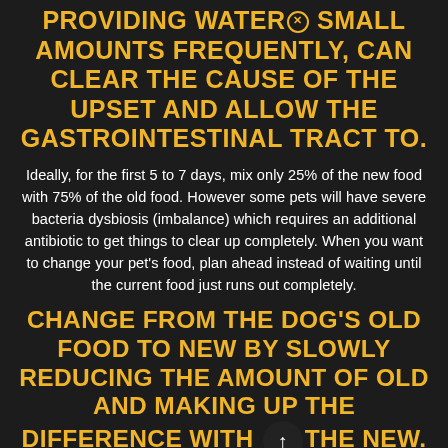PROVIDING WATER IN SMALL AMOUNTS FREQUENTLY, CAN CLEAR THE CAUSE OF THE UPSET AND ALLOW THE GASTROINTESTINAL TRACT TO.
Ideally, for the first 5 to 7 days, mix only 25% of the new food with 75% of the old food. However some pets will have severe bacteria dysbiosis (imbalance) which requires an additional antibiotic to get things to clear up completely. When you want to change your pet’s food, plan ahead instead of waiting until the current food just runs out completely.
CHANGE FROM THE DOG’S OLD FOOD TO NEW BY SLOWLY REDUCING THE AMOUNT OF OLD AND MAKING UP THE DIFFERENCE WITH THE NEW.